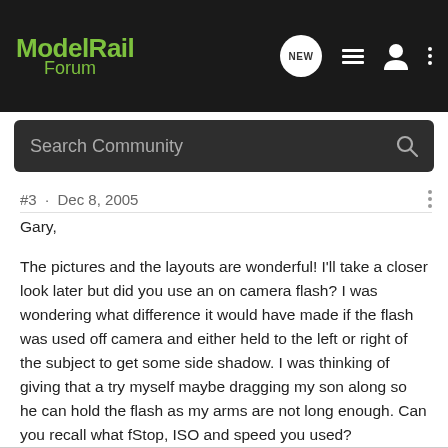ModelRail Forum
Search Community
#3 · Dec 8, 2005
Gary,

The pictures and the layouts are wonderful! I'll take a closer look later but did you use an on camera flash? I was wondering what difference it would have made if the flash was used off camera and either held to the left or right of the subject to get some side shadow. I was thinking of giving that a try myself maybe dragging my son along so he can hold the flash as my arms are not long enough. Can you recall what fStop, ISO and speed you used?

Thanks for sharing them with us.